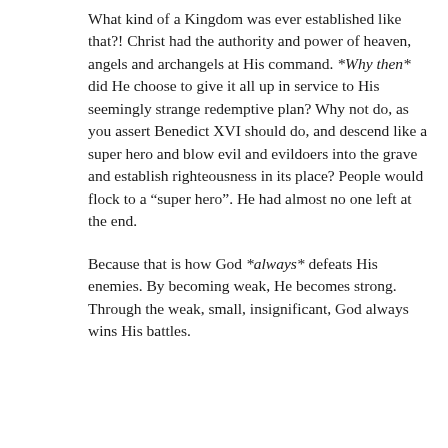What kind of a Kingdom was ever established like that?! Christ had the authority and power of heaven, angels and archangels at His command. *Why then* did He choose to give it all up in service to His seemingly strange redemptive plan? Why not do, as you assert Benedict XVI should do, and descend like a super hero and blow evil and evildoers into the grave and establish righteousness in its place? People would flock to a “super hero”. He had almost no one left at the end.
Because that is how God *always* defeats His enemies. By becoming weak, He becomes strong. Through the weak, small, insignificant, God always wins His battles.